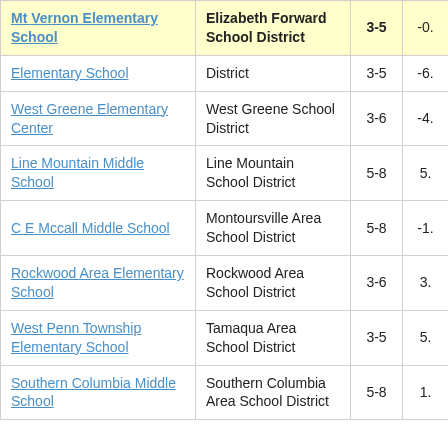| School | District | Grades | Value |
| --- | --- | --- | --- |
| Mt Vernon Elementary School | Elizabeth Forward School District | 3-5 | -0. |
| Elementary School | District | 3-5 | -6. |
| West Greene Elementary Center | West Greene School District | 3-6 | -4. |
| Line Mountain Middle School | Line Mountain School District | 5-8 | 5. |
| C E Mccall Middle School | Montoursville Area School District | 5-8 | -1. |
| Rockwood Area Elementary School | Rockwood Area School District | 3-6 | 3. |
| West Penn Township Elementary School | Tamaqua Area School District | 3-5 | 5. |
| Southern Columbia Middle School | Southern Columbia Area School District | 5-8 | 1. |